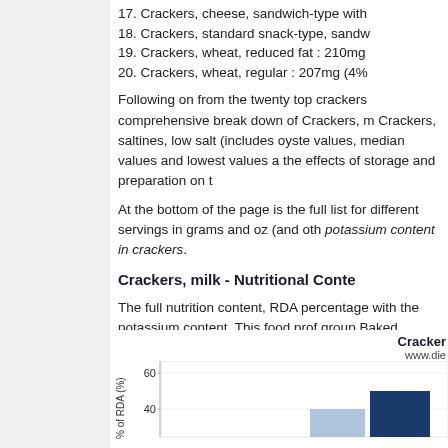17. Crackers, cheese, sandwich-type with
18. Crackers, standard snack-type, sandw
19. Crackers, wheat, reduced fat : 210mg
20. Crackers, wheat, regular : 207mg (4%
Following on from the twenty top crackers comprehensive break down of Crackers, m Crackers, saltines, low salt (includes oyste values, median values and lowest values a the effects of storage and preparation on t
At the bottom of the page is the full list for different servings in grams and oz (and oth potassium content in crackers.
Crackers, milk - Nutritional Conte
The full nutrition content, RDA percentage with the potassium content. This food prof group Baked Products.Other important an Fat and Carbohydrate. For this 100g servi RDA), the amount of Sodium is 592 mg (3 amount of Fat is 15.8 g (24% RDA) and th nutritional content and facts for 100g, whic is shown in the RDA chart below as perce potassium levels in crackers.
[Figure (bar-chart): Partial bar chart showing % of RDA, y-axis visible with labels 60 and 40, bars partially visible at bottom of page]